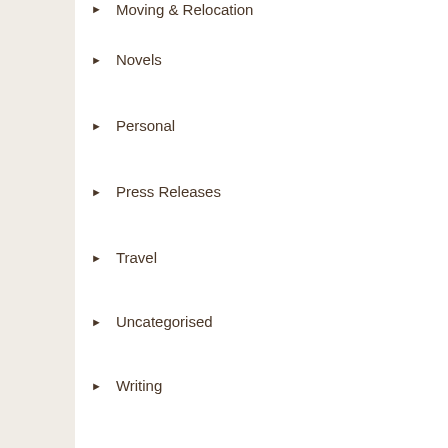Moving & Relocation
Novels
Personal
Press Releases
Travel
Uncategorised
Writing
Meta
Log in
Entries feed
Comments feed
WordPress.org